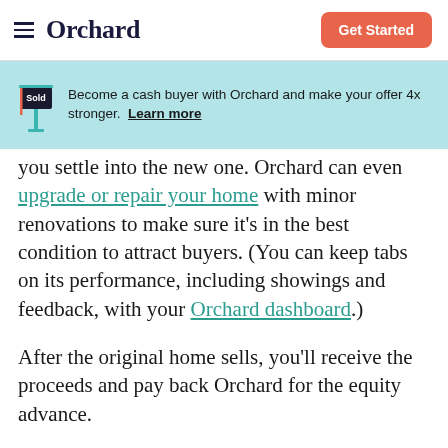Orchard | Get Started
[Figure (infographic): Teal banner with a 'Sold' sign illustration. Text reads: Become a cash buyer with Orchard and make your offer 4x stronger. Learn more]
you settle into the new one. Orchard can even upgrade or repair your home with minor renovations to make sure it's in the best condition to attract buyers. (You can keep tabs on its performance, including showings and feedback, with your Orchard dashboard.)
After the original home sells, you'll receive the proceeds and pay back Orchard for the equity advance.
Cash offers